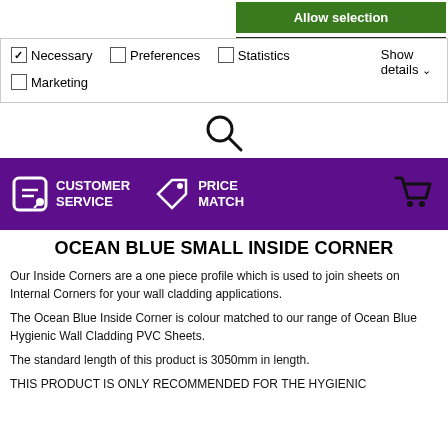[Figure (screenshot): Cookie consent UI with Allow selection green button, Use necessary cookies only dark button, checkbox options for Necessary (checked), Preferences, Statistics, Marketing, and Show details dropdown]
[Figure (other): Search icon (magnifying glass)]
[Figure (other): Purple navigation bar with Customer Service, Price Match icons and shopping cart icon]
OCEAN BLUE SMALL INSIDE CORNER
Our Inside Corners are a one piece profile which is used to join sheets on Internal Corners for your wall cladding applications.
The Ocean Blue Inside Corner is colour matched to our range of Ocean Blue Hygienic Wall Cladding PVC Sheets.
The standard length of this product is 3050mm in length.
THIS PRODUCT IS ONLY RECOMMENDED FOR THE HYGIENIC